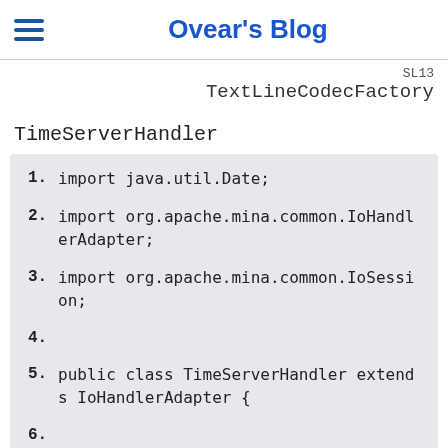Ovear's Blog
TextLineCodecFactory
TimeServerHandler
1. import java.util.Date;
2. import org.apache.mina.common.IoHandlerAdapter;
3. import org.apache.mina.common.IoSession;
4.
5. public class TimeServerHandler extends IoHandlerAdapter {
6.